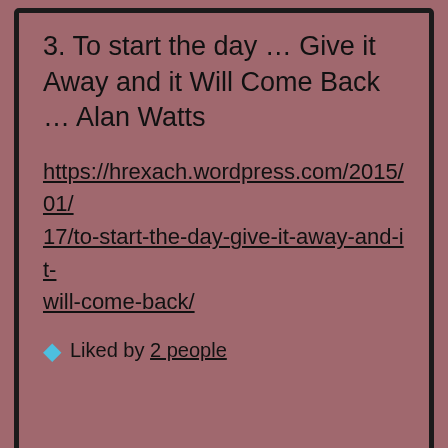3. To start the day … Give it Away and it Will Come Back … Alan Watts
https://hrexach.wordpress.com/2015/01/17/to-start-the-day-give-it-away-and-it-will-come-back/
Liked by 2 people
Chris Robinson
December 12, 2015 at 4:41 pm
Well it's getting quite late here in Europe now, so here is my last post of the day. I am afraid that in this post I reminisce about my teenage years working on a quaint little